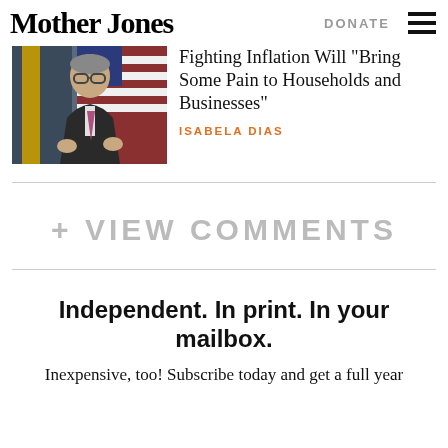Mother Jones   DONATE
[Figure (photo): Man in suit and glasses speaking at a podium, with American flags in the background]
Fighting Inflation Will “Bring Some Pain to Households and Businesses”
ISABELA DIAS
+ VIEW COMMENTS
Independent. In print. In your mailbox.
Inexpensive, too! Subscribe today and get a full year